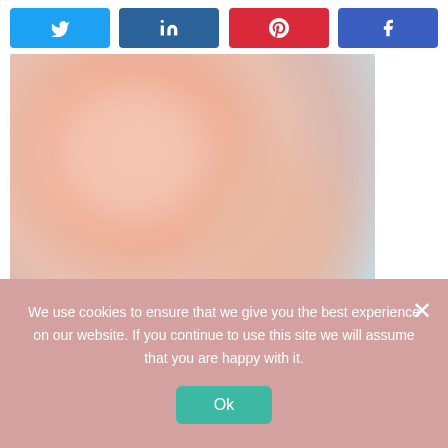[Figure (other): Social share button bar at top with Twitter (blue), LinkedIn (dark blue), Pinterest (red), Facebook (blue) buttons]
[Figure (photo): Close-up photo of a baby with teal/turquoise banner overlay at bottom reading 'A SUPERTIRED MOM']
How to soothe a teething baby at night
Share if you like
[Figure (other): Row of circular social media sharing icons: Twitter (blue), Facebook (blue), Pinterest (red), WhatsApp (green), LinkedIn (teal)]
We use cookies to ensure that we give you the best experience on our website. If you continue to use this site we will assume that you are happy with it.